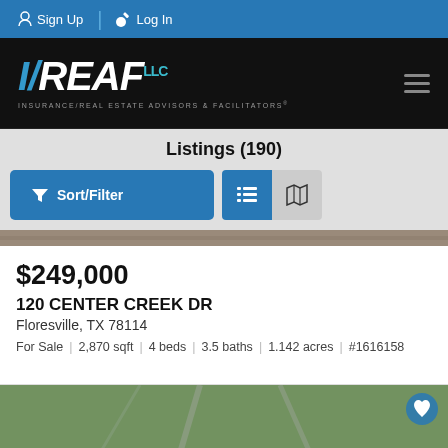Sign Up  Log In
[Figure (logo): I/REAF LLC logo – Insurance/Real Estate Advisors & Facilitators wordmark on black background with hamburger menu icon]
Listings (190)
[Figure (screenshot): Sort/Filter button and list/map view toggle buttons on gray background]
[Figure (photo): Partial aerial/satellite photo strip of land]
$249,000
120 CENTER CREEK DR
Floresville, TX 78114
For Sale  |  2,870 sqft  |  4 beds  |  3.5 baths  |  1.142 acres  |  #1616158
[Figure (photo): Partial aerial/satellite photo of land with roads at bottom of page]